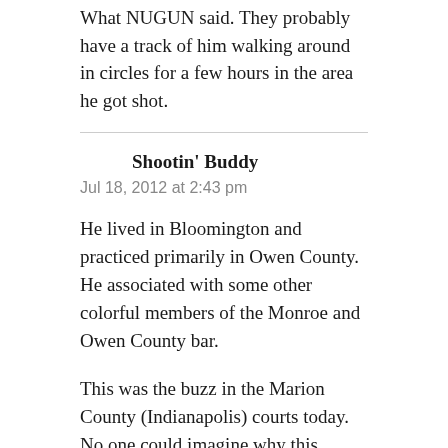What NUGUN said. They probably have a track of him walking around in circles for a few hours in the area he got shot.
Shootin' Buddy
Jul 18, 2012 at 2:43 pm
He lived in Bloomington and practiced primarily in Owen County. He associated with some other colorful members of the Monroe and Owen County bar.
This was the buzz in the Marion County (Indianapolis) courts today. No one could imagine why this would happen.